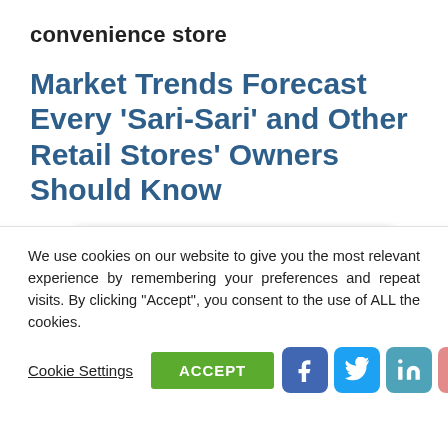convenience store
Market Trends Forecast Every ‘Sari-Sari’ and Other Retail Stores’ Owners Should Know
[Figure (other): Partially visible article featured image card with rounded white rectangle on grey gradient background]
We use cookies on our website to give you the most relevant experience by remembering your preferences and repeat visits. By clicking “Accept”, you consent to the use of ALL the cookies.
Cookie Settings  ACCEPT
[Figure (other): Social share buttons row: Facebook, Twitter, LinkedIn, Pinterest, Reddit, More (plus icon)]